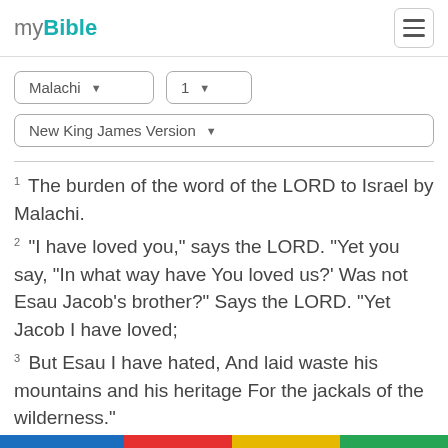myBible
Malachi | 1 | New King James Version
1 The burden of the word of the LORD to Israel by Malachi. 2 "I have loved you," says the LORD. "Yet you say, "In what way have You loved us?' Was not Esau Jacob's brother?" Says the LORD. "Yet Jacob I have loved; 3 But Esau I have hated, And laid waste his mountains and his heritage For the jackals of the wilderness."